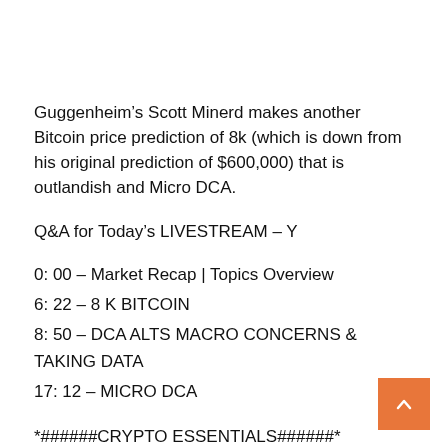Guggenheim’s Scott Minerd makes another Bitcoin price prediction of 8k (which is down from his original prediction of $600,000) that is outlandish and Micro DCA.
Q&A for Today’s LIVESTREAM – Y
0: 00 – Market Recap | Topics Overview
6: 22 – 8 K BITCOIN
8: 50 – DCA ALTS MACRO CONCERNS & TAKING DATA
17: 12 – MICRO DCA
*######CRYPTO ESSENTIALS######*
(100% FREE!) Simplified Crypto Education (EASY! )